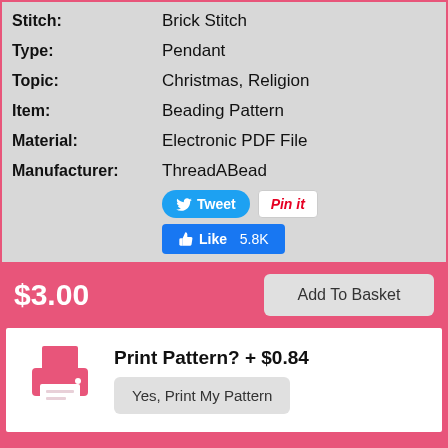| Field | Value |
| --- | --- |
| Stitch: | Brick Stitch |
| Type: | Pendant |
| Topic: | Christmas, Religion |
| Item: | Beading Pattern |
| Material: | Electronic PDF File |
| Manufacturer: | ThreadABead |
Tweet | Pin it | Like 5.8K
$3.00
Add To Basket
Print Pattern? + $0.84
Yes, Print My Pattern
Add item to your Wishlist
Add Now